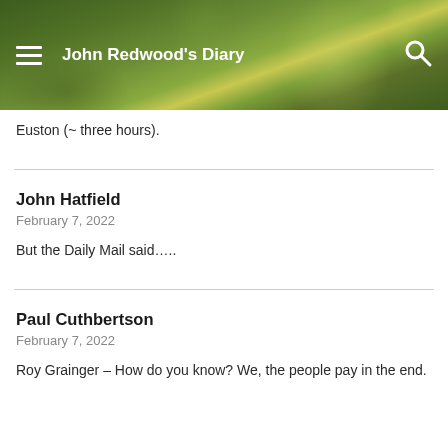John Redwood's Diary
Euston (~ three hours).
John Hatfield
February 7, 2022
But the Daily Mail said…..
Paul Cuthbertson
February 7, 2022
Roy Grainger – How do you know? We, the people pay in the end.